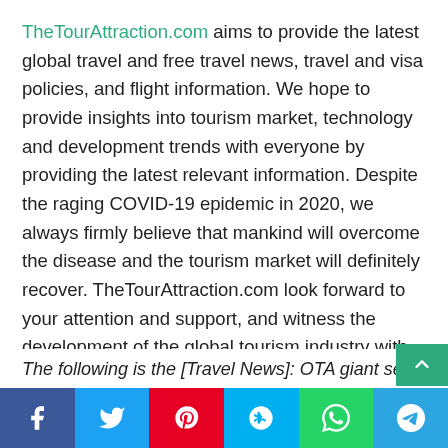TheTourAttraction.com aims to provide the latest global travel and free travel news, travel and visa policies, and flight information. We hope to provide insights into tourism market, technology and development trends with everyone by providing the latest relevant information. Despite the raging COVID-19 epidemic in 2020, we always firmly believe that mankind will overcome the disease and the tourism market will definitely recover. TheTourAttraction.com look forward to your attention and support, and witness the development of the global tourism industry with us. Looking forward to the information TheTourAttraction.com provide can help you. We will continue to follow up and obtain the latest data, and look forward to your attention and support.
The following is the [Travel News]: OTA giant sees content a…